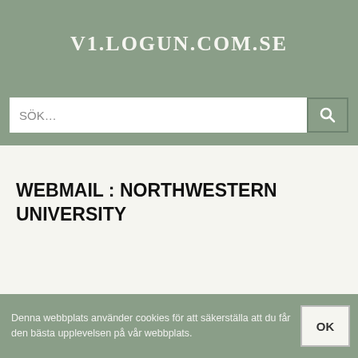V1.LOGUN.COM.SE
SÖK…
WEBMAIL : NORTHWESTERN UNIVERSITY
Denna webbplats använder cookies för att säkerställa att du får den bästa upplevelsen på vår webbplats.